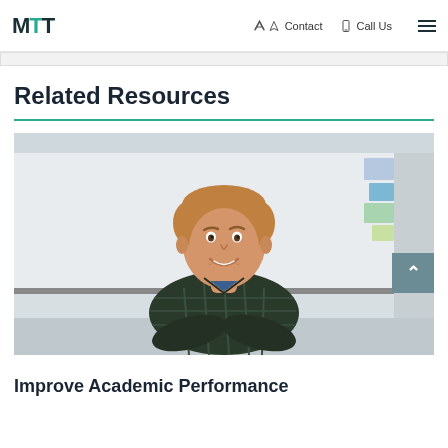MTT | Contact | Call Us
Related Resources
[Figure (photo): A smiling young male teacher standing with arms crossed in front of a whiteboard in a classroom setting]
Improve Academic Performance